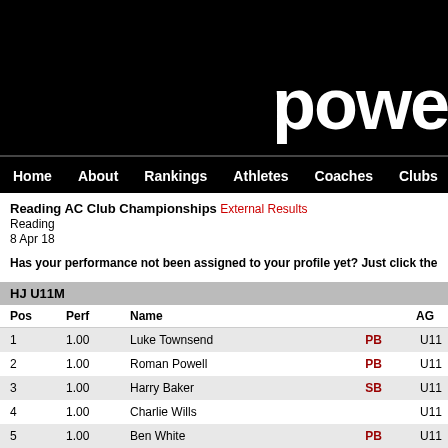[Figure (logo): Black header with white bold text 'powe' (partially visible logo)]
Home  About  Rankings  Athletes  Coaches  Clubs  Highlight
Reading AC Club Championships External Results
Reading
8 Apr 18
Has your performance not been assigned to your profile yet? Just click the
HJ U11M
| Pos | Perf | Name |  | AG |
| --- | --- | --- | --- | --- |
| 1 | 1.00 | Luke Townsend | PB | U11 |
| 2 | 1.00 | Roman Powell | PB | U11 |
| 3 | 1.00 | Harry Baker | SB | U11 |
| 4 | 1.00 | Charlie Wills |  | U11 |
| 5 | 1.00 | Ben White | PB | U11 |
| 6 | 0.95 | Devon Staples | PB | U11 |
| 6 | 0.95 | Joshua Ponert | PB | U11 |